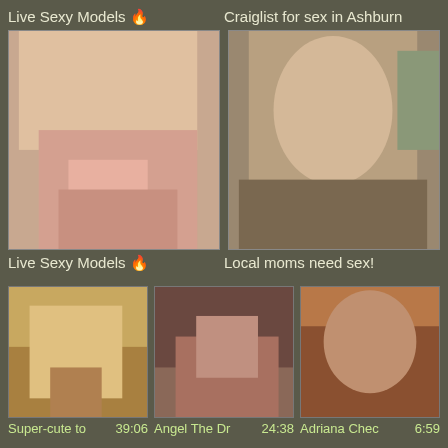Live Sexy Models 🔥
Craiglist for sex in Ashburn
[Figure (photo): Close-up adult photo]
[Figure (photo): Woman smiling at restaurant]
Live Sexy Models 🔥
Local moms need sex!
[Figure (photo): Video thumbnail - blonde]
Super-cute to
39:06
[Figure (photo): Video thumbnail - Angel The Dr]
Angel The Dr
24:38
[Figure (photo): Video thumbnail - Adriana Chec]
Adriana Chec
6:59